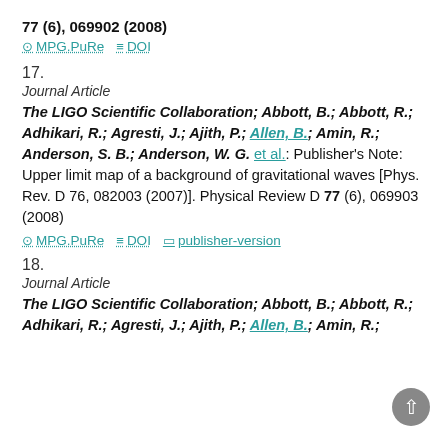77 (6), 069902 (2008)
MPG.PuRe   DOI
17.
Journal Article
The LIGO Scientific Collaboration; Abbott, B.; Abbott, R.; Adhikari, R.; Agresti, J.; Ajith, P.; Allen, B.; Amin, R.; Anderson, S. B.; Anderson, W. G. et al.: Publisher's Note: Upper limit map of a background of gravitational waves [Phys. Rev. D 76, 082003 (2007)]. Physical Review D 77 (6), 069903 (2008)
MPG.PuRe   DOI   publisher-version
18.
Journal Article
The LIGO Scientific Collaboration; Abbott, B.; Abbott, R.; Adhikari, R.; Agresti, J.; Ajith, P.; Allen, B.; Amin, R.;